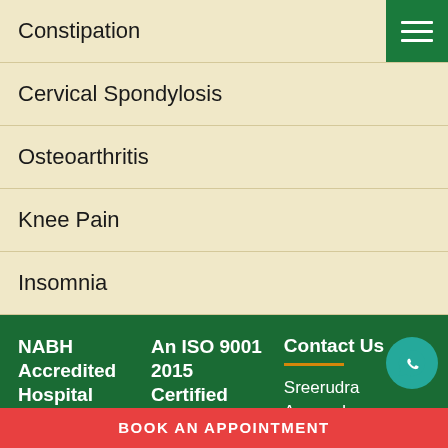Constipation
Cervical Spondylosis
Osteoarthritis
Knee Pain
Insomnia
NABH Accredited Hospital
An ISO 9001 2015 Certified Hospital
Contact Us
Sreerudra Ayurveda
BOOK AN APPOINTMENT